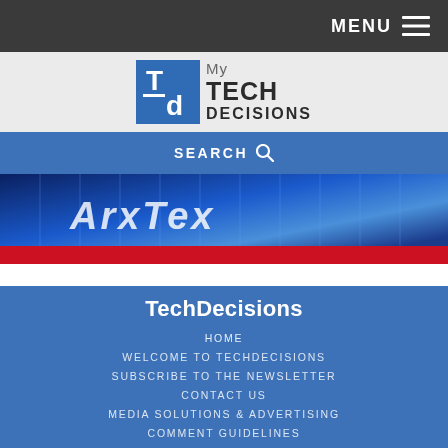MENU
[Figure (logo): My TechDecisions logo with blue TD icon and text]
SEARCH
[Figure (photo): Banner image with blue gradient background and red stripe at bottom, showing stylized text]
TechDecisions
HOME
WELCOME TO TECHDECISIONS
SUBSCRIBE TO THE NEWSLETTER
CONTACT US
MEDIA SOLUTIONS & ADVERTISING
COMMENT GUIDELINES